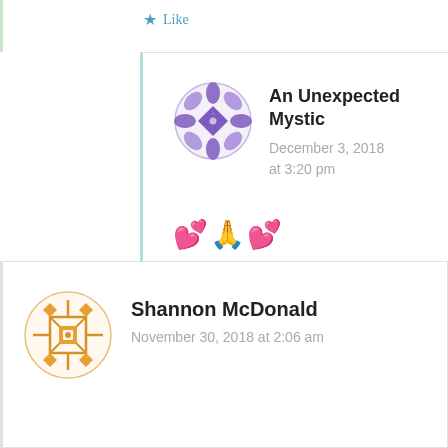★ Like
[Figure (illustration): Purple geometric mandala avatar for An Unexpected Mystic]
An Unexpected Mystic
December 3, 2018 at 3:20 pm
💕 🙏 💕
★ Like
[Figure (illustration): Orange geometric mandala avatar for Shannon McDonald]
Shannon McDonald
November 30, 2018 at 2:06 am